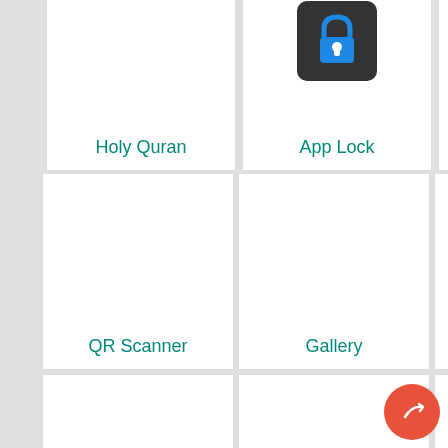[Figure (screenshot): Mobile app grid showing app icons: Holy Quran, App Lock, WhatsApp, QR Scanner, Gallery, Chrome, File Manager, Facebook, Wallpapers, ES Explorer, MX Player, Hide Media, SHAREit, Skype, Viber, and partial icons at bottom. Red circular share FAB button in bottom right.]